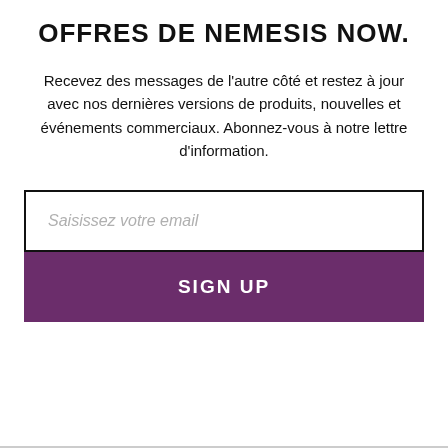OFFRES DE NEMESIS NOW.
Recevez des messages de l'autre côté et restez à jour avec nos dernières versions de produits, nouvelles et événements commerciaux. Abonnez-vous à notre lettre d'information.
[Figure (other): Email subscription form with a text input box showing placeholder 'Saisissez votre email' and a purple 'SIGN UP' button below.]